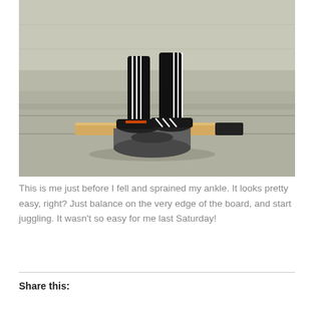[Figure (photo): A person in black tracksuit pants and Adidas sneakers standing on a wooden balance board placed on a cylindrical roller, photographed outdoors on a concrete surface with a building wall in the background.]
This is me just before I fell and sprained my ankle. It looks pretty easy, right? Just balance on the very edge of the board, and start juggling. It wasn't so easy for me last Saturday!
Share this: